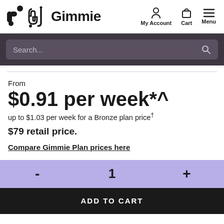Gimmie — My Account | Cart | Menu
Search...
From
$0.91 per week*^
up to $1.03 per week for a Bronze plan price†
$79 retail price.
Compare Gimmie Plan prices here
- 1 +
ADD TO CART